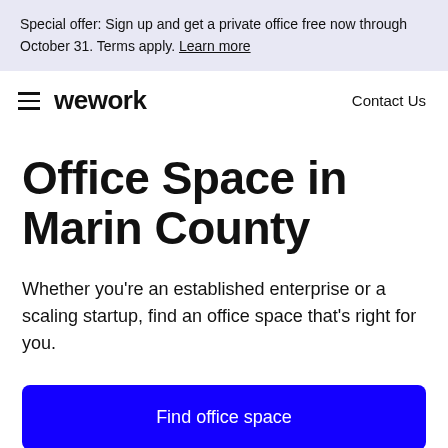Special offer: Sign up and get a private office free now through October 31. Terms apply. Learn more
wework | Contact Us
Office Space in Marin County
Whether you’re an established enterprise or a scaling startup, find an office space that's right for you.
Find office space